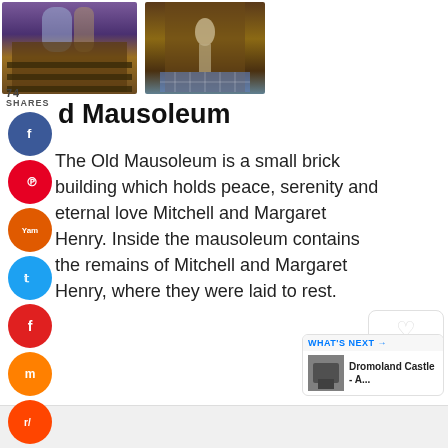[Figure (photo): Interior of a church with stained glass windows and dark wooden pews]
[Figure (photo): Stone statue in a wooden alcove with blue and white tiled floor]
74 SHARES
d Mausoleum
The Old Mausoleum is a small brick building which holds peace, serenity and eternal love Mitchell and Margaret Henry. Inside the mausoleum contains the remains of Mitchell and Margaret Henry, where they were laid to rest.